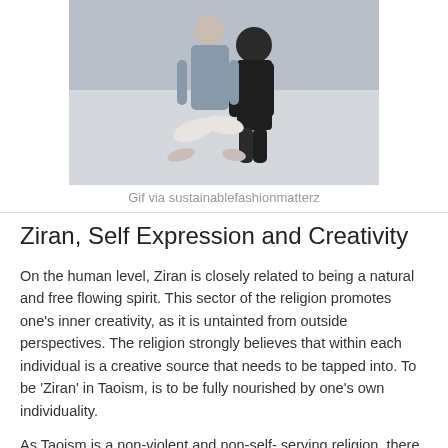[Figure (photo): Photo of a person in light-colored clothing sitting/posing on a light surface, cropped at the top of the page]
Gif via sustainablefashionmatterz
Ziran, Self Expression and Creativity
On the human level, Ziran is closely related to being a natural and free flowing spirit. This sector of the religion promotes one's inner creativity, as it is untainted from outside perspectives. The religion strongly believes that within each individual is a creative source that needs to be tapped into. To be 'Ziran' in Taoism, is to be fully nourished by one's own individuality.
As Taoism is a non-violent and non-self- serving religion, there is lots of emphasis on how achieving ziran is not succumbing to personal needs and wants, but rather following nature's pull towards spontaneity.